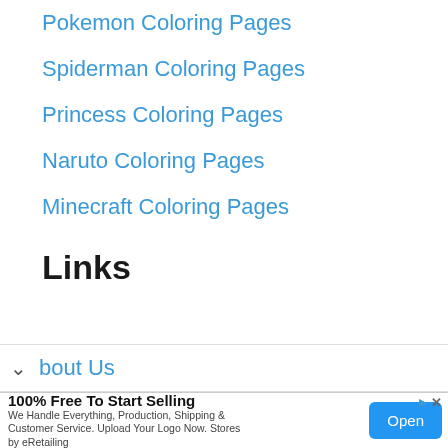Pokemon Coloring Pages
Spiderman Coloring Pages
Princess Coloring Pages
Naruto Coloring Pages
Minecraft Coloring Pages
Links
About Us
[Figure (other): Advertisement banner: '100% Free To Start Selling' with subtitle 'We Handle Everything, Production, Shipping & Customer Service. Upload Your Logo Now. Stores by eRetailing' and an 'Open' button]